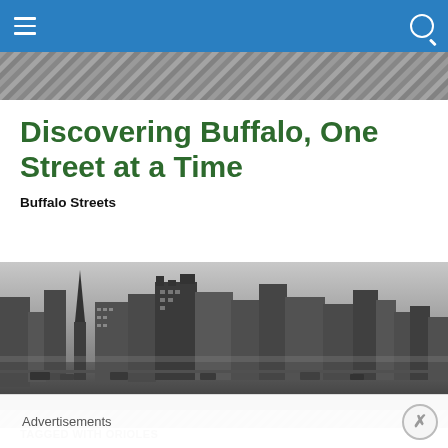Navigation bar with menu and search icons
[Figure (photo): Faint aerial/decorative strip at top of page]
Discovering Buffalo, One Street at a Time
Buffalo Streets
[Figure (photo): Black and white panoramic historical photograph of downtown Buffalo city streets showing tall buildings, a church spire, streetcars, and busy streets]
[Figure (photo): Faint decorative strip below main photo]
TAGGED WITH ORIOLES
Advertisements